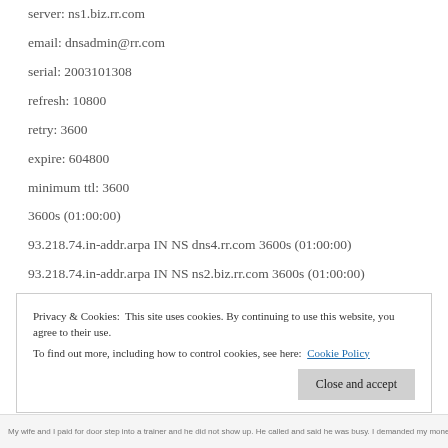server: ns1.biz.rr.com
email: dnsadmin@rr.com
serial: 2003101308
refresh: 10800
retry: 3600
expire: 604800
minimum ttl: 3600
3600s (01:00:00)
93.218.74.in-addr.arpa IN NS dns4.rr.com 3600s (01:00:00)
93.218.74.in-addr.arpa IN NS ns2.biz.rr.com 3600s (01:00:00)
93.218.74.in-addr.arpa IN NS ns1.biz.rr.com 3600s (01:00:00)
— end —
Privacy & Cookies: This site uses cookies. By continuing to use this website, you agree to their use.
To find out more, including how to control cookies, see here: Cookie Policy